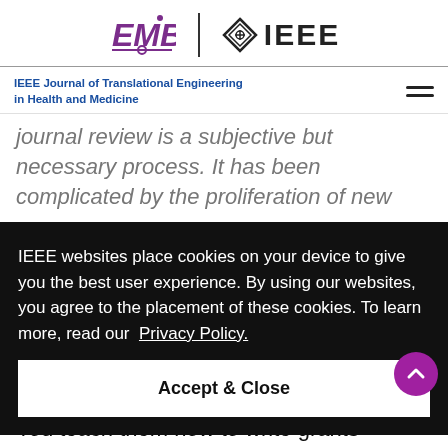EMB | IEEE
IEEE Journal of Translational Engineering in Health and Medicine
journal review is a subjective but necessary process. It has been complicated by the proliferation of new
IEEE websites place cookies on your device to give you the best user experience. By using our websites, you agree to the placement of these cookies. To learn more, read our Privacy Policy.
Accept & Close
You teach them how to write grants